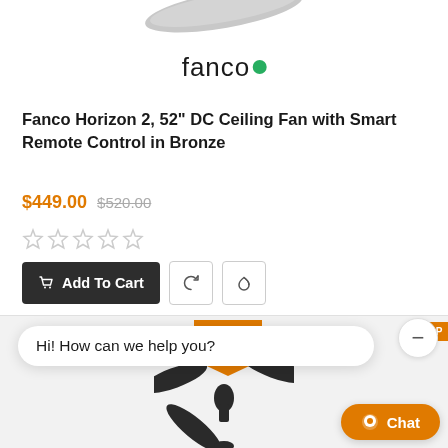[Figure (photo): Top portion of a ceiling fan blade visible at top of page]
[Figure (logo): Fanco logo in dark text with green circle dot]
Fanco Horizon 2, 52" DC Ceiling Fan with Smart Remote Control in Bronze
$449.00 $520.00
[Figure (other): Five empty star rating icons]
Add To Cart
[Figure (photo): Bottom section showing orange badge and ceiling fan image with chat widget overlay saying Hi! How can we help you? and Chat button]